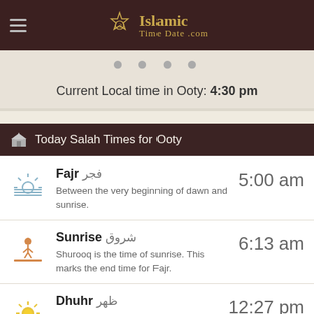Islamic TimeDate.com
Current Local time in Ooty: 4:30 pm
Today Salah Times for Ooty
Fajr - 5:00 am - Between the very beginning of dawn and sunrise.
Sunrise شروق - 6:13 am - Shurooq is the time of sunrise. This marks the end time for Fajr.
Dhuhr ظهر - 12:27 pm - Between the declining of the sun and Asr
Asr عصر - 4:47 pm